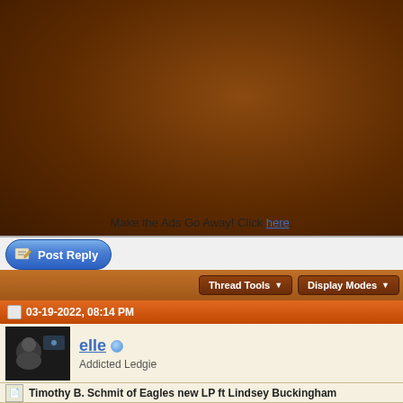[Figure (screenshot): Brown textured background area (advertisement space)]
Make the Ads Go Away! Click here.
[Figure (screenshot): Post Reply button (blue pill-shaped button with pencil icon)]
Thread Tools ▼   Display Modes ▼
03-19-2022, 08:14 PM
elle  Addicted Ledgie
Timothy B. Schmit of Eagles new LP ft Lindsey Buckingham
https://www.rockcellarmagazine.com/t...ey-buckingham/
Timothy B. Schmit of Eagles Previews ‘Day By Day’ LP (Out May 6) with ft. Lindsey Buckingham